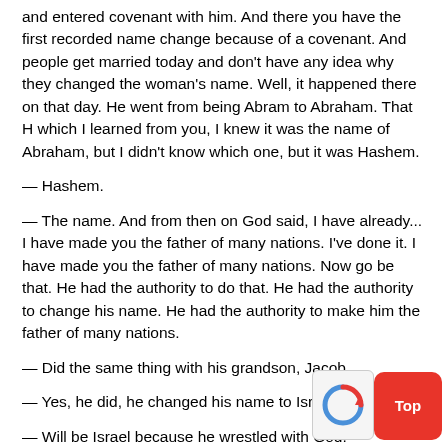and entered covenant with him. And there you have the first recorded name change because of a covenant. And people get married today and don't have any idea why they changed the woman's name. Well, it happened there on that day. He went from being Abram to Abraham. That H which I learned from you, I knew it was the name of Abraham, but I didn't know which one, but it was Hashem.
— Hashem.
— The name. And from then on God said, I have already... I have made you the father of many nations. I've done it. I have made you the father of many nations. Now go be that. He had the authority to do that. He had the authority to change his name. He had the authority to make him the father of many nations.
— Did the same thing with his grandson, Jacob.
— Yes, he did, he changed his name to Israel.
— Will be Israel because he wrestled with God.